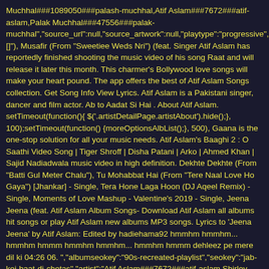Muchhal###1089050###palash-muchhal,Atif Aslam###7672###atif-aslam,Palak Muchhal###47556###palak-muchhal","source_url":null,"source_artwork":null,"playtype":"progressive","la []"), Musafir (From "Sweetiee Weds Nri") (feat. Singer Atif Aslam has reportedly finished shooting the music video of his song Raat and will release it later this month. This charmer's Bollywood love songs will make your heart pound. The app offers the best of Atif Aslam Songs collection. Get Song Info View Lyrics. Atif Aslam is a Pakistani singer, dancer and film actor. Ab to Aadat Si Hai . About Atif Aslam. setTimeout(function(){ $('.artistDetailPage.artistAbout').hide();}, 100);setTimeout(function() {moreOptionsAlbList();}, 500), Gaana is the one-stop solution for all your music needs. Atif Aslam's Baaghi 2 : O Saathi Video Song | Tiger Shroff | Disha Patani | Arko | Ahmed Khan | Sajid Nadiadwala music video in high definition. Dekhte Dekhte (From "Batti Gul Meter Chalu"), Tu Mohabbat Hai (From "Tere Naal Love Ho Gaya") [Jhankar] - Single, Tera Hone Laga Hoon (DJ Aqeel Remix) - Single, Moments of Love Mashup - Valentine's 2019 - Single, Jeena Jeena (feat. Atif Aslam Album Songs- Download Atif Aslam all albums hit songs or play Atif Aslam new albums MP3 songs. Lyrics to 'Jeena Jeena' by Atif Aslam: Edited by hadiehama92 hmmhm hmmhm... hmmhm hmmm hmmhm hmmhm... hmmhm hmmm dehleez pe mere dil ki 04:26 06. ","albumseokey":"90s-recreated-playlist","seokey":"jab-koi-baat-dj-chetas","artist":"Atif Aslam###7672###atif-aslam,Shirley